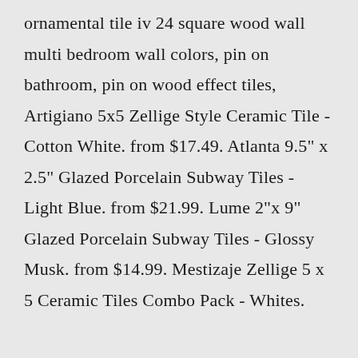ornamental tile iv 24 square wood wall multi bedroom wall colors, pin on bathroom, pin on wood effect tiles, Artigiano 5x5 Zellige Style Ceramic Tile - Cotton White. from $17.49. Atlanta 9.5" x 2.5" Glazed Porcelain Subway Tiles - Light Blue. from $21.99. Lume 2"x 9" Glazed Porcelain Subway Tiles - Glossy Musk. from $14.99. Mestizaje Zellige 5 x 5 Ceramic Tiles Combo Pack - Whites.